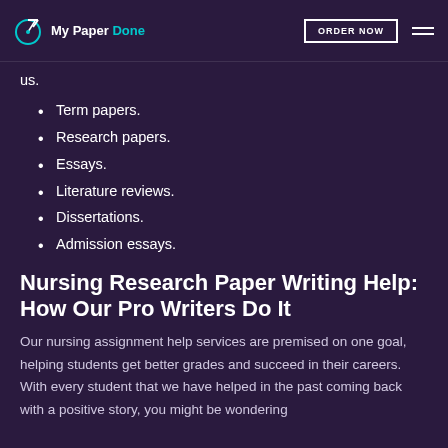My Paper Done | ORDER NOW
us.
Term papers.
Research papers.
Essays.
Literature reviews.
Dissertations.
Admission essays.
Nursing Research Paper Writing Help: How Our Pro Writers Do It
Our nursing assignment help services are premised on one goal, helping students get better grades and succeed in their careers. With every student that we have helped in the past coming back with a positive story, you might be wondering